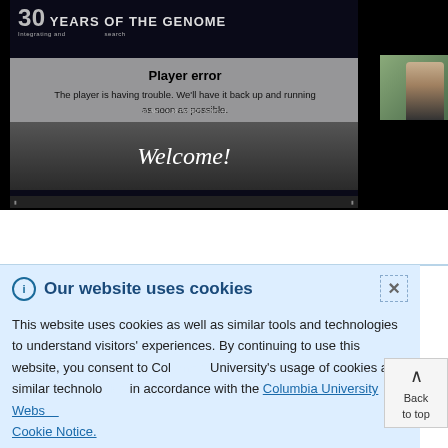[Figure (screenshot): Video player showing '30 YEARS OF THE GENOME - Integrating and research' banner with a player error overlay message and a Welcome! banner below]
Player error
The player is having trouble. We'll have it back up and running as soon as possible.
Our website uses cookies
This website uses cookies as well as similar tools and technologies to understand visitors' experiences. By continuing to use this website, you consent to Columbia University's usage of cookies and similar technologies in accordance with the Columbia University Website Cookie Notice.